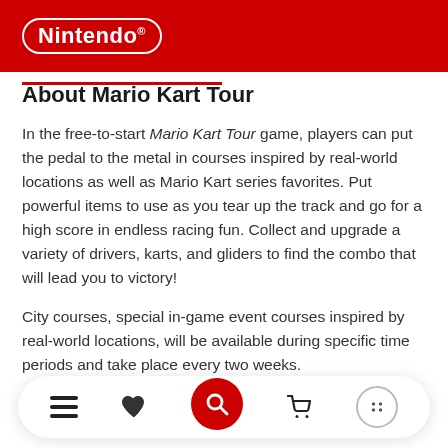Nintendo®
About Mario Kart Tour
In the free-to-start Mario Kart Tour game, players can put the pedal to the metal in courses inspired by real-world locations as well as Mario Kart series favorites. Put powerful items to use as you tear up the track and go for a high score in endless racing fun. Collect and upgrade a variety of drivers, karts, and gliders to find the combo that will lead you to victory!
City courses, special in-game event courses inspired by real-world locations, will be available during specific time periods and take place every two weeks.